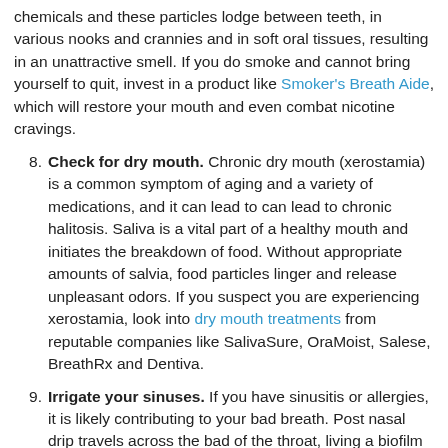chemicals and these particles lodge between teeth, in various nooks and crannies and in soft oral tissues, resulting in an unattractive smell. If you do smoke and cannot bring yourself to quit, invest in a product like Smoker's Breath Aide, which will restore your mouth and even combat nicotine cravings.
8. Check for dry mouth. Chronic dry mouth (xerostamia) is a common symptom of aging and a variety of medications, and it can lead to can lead to chronic halitosis. Saliva is a vital part of a healthy mouth and initiates the breakdown of food. Without appropriate amounts of salvia, food particles linger and release unpleasant odors. If you suspect you are experiencing xerostamia, look into dry mouth treatments from reputable companies like SalivaSure, OraMoist, Salese, BreathRx and Dentiva.
9. Irrigate your sinuses. If you have sinusitis or allergies, it is likely contributing to your bad breath. Post nasal drip travels across the bad of the throat, living a biofilm where bad-breath inducing bacteria thrives. A sinus irrigator and saline wash will flush out the mucus, reducing post nasal drip and the resulting